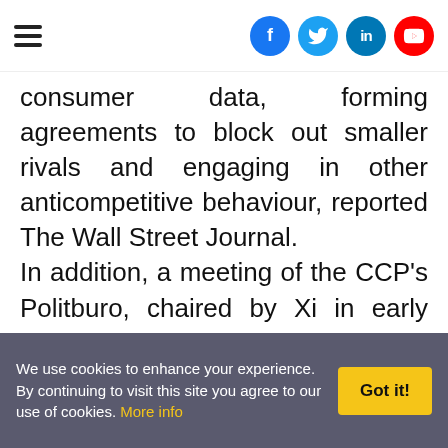Navigation bar with hamburger menu and social icons (Facebook, Twitter, LinkedIn, YouTube)
consumer data, forming agreements to block out smaller rivals and engaging in other anticompetitive behaviour, reported The Wall Street Journal. In addition, a meeting of the CCP's Politburo, chaired by Xi in early December pledged to strengthen antimonopoly efforts next year and to “prevent the disorderly expansion of capital”, a message seen as portending a larger crackdown on internet giants. Jack Ma is
We use cookies to enhance your experience. By continuing to visit this site you agree to our use of cookies. More info